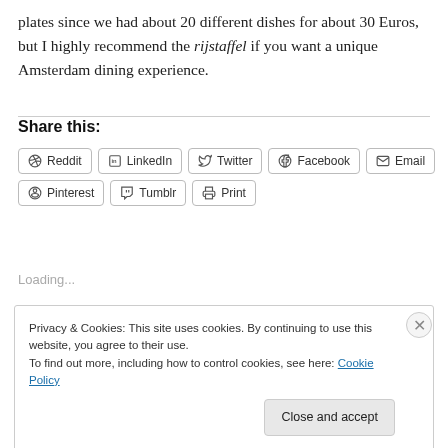plates since we had about 20 different dishes for about 30 Euros, but I highly recommend the rijstaffel if you want a unique Amsterdam dining experience.
Share this:
Reddit  LinkedIn  Twitter  Facebook  Email  Pinterest  Tumblr  Print
Loading...
Privacy & Cookies: This site uses cookies. By continuing to use this website, you agree to their use.
To find out more, including how to control cookies, see here: Cookie Policy
Close and accept